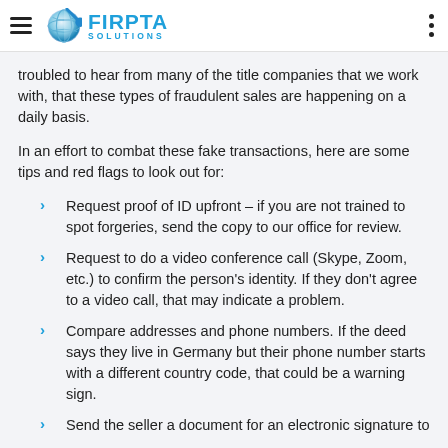FIRPTA SOLUTIONS
troubled to hear from many of the title companies that we work with, that these types of fraudulent sales are happening on a daily basis.
In an effort to combat these fake transactions, here are some tips and red flags to look out for:
Request proof of ID upfront – if you are not trained to spot forgeries, send the copy to our office for review.
Request to do a video conference call (Skype, Zoom, etc.) to confirm the person's identity. If they don't agree to a video call, that may indicate a problem.
Compare addresses and phone numbers. If the deed says they live in Germany but their phone number starts with a different country code, that could be a warning sign.
Send the seller a document for an electronic signature to